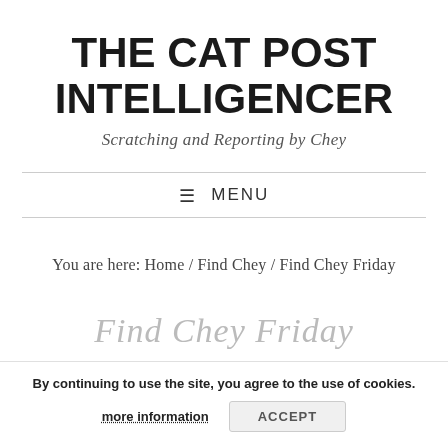THE CAT POST INTELLIGENCER
Scratching and Reporting by Chey
≡ MENU
You are here: Home / Find Chey / Find Chey Friday
Find Chey Friday
By continuing to use the site, you agree to the use of cookies.
more information
ACCEPT